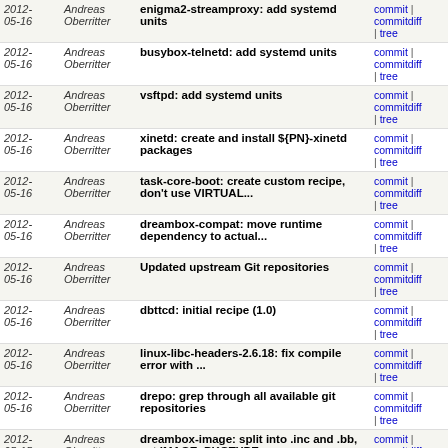| Date | Author | Message | Links |
| --- | --- | --- | --- |
| 2012-05-16 | Andreas Oberritter | enigma2-streamproxy: add systemd units | commit | commitdiff | tree |
| 2012-05-16 | Andreas Oberritter | busybox-telnetd: add systemd units | commit | commitdiff | tree |
| 2012-05-16 | Andreas Oberritter | vsftpd: add systemd units | commit | commitdiff | tree |
| 2012-05-16 | Andreas Oberritter | xinetd: create and install ${PN}-xinetd packages | commit | commitdiff | tree |
| 2012-05-16 | Andreas Oberritter | task-core-boot: create custom recipe, don't use VIRTUAL... | commit | commitdiff | tree |
| 2012-05-16 | Andreas Oberritter | dreambox-compat: move runtime dependency to actual... | commit | commitdiff | tree |
| 2012-05-16 | Andreas Oberritter | Updated upstream Git repositories | commit | commitdiff | tree |
| 2012-05-16 | Andreas Oberritter | dbttcd: initial recipe (1.0) | commit | commitdiff | tree |
| 2012-05-16 | Andreas Oberritter | linux-libc-headers-2.6.18: fix compile error with ... | commit | commitdiff | tree |
| 2012-05-16 | Andreas Oberritter | drepo: grep through all available git repositories | commit | commitdiff | tree |
| 2012-05-15 | Andreas Oberritter | dreambox-image: split into .inc and .bb, set IMAGE_PKGTYPE | commit | commitdiff | tree |
| 2012-05-15 | Andreas Oberritter | opendreambox.conf: list opkg's extra dependencies in... | commit | commitdiff | tree |
| 2012-05-15 | Andreas Oberritter | blindscan-utils: update to 1.7 (multi-call executable) | commit | commitdiff | tree |